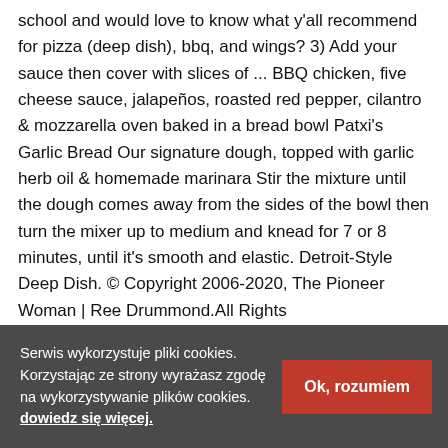school and would love to know what y'all recommend for pizza (deep dish), bbq, and wings? 3) Add your sauce then cover with slices of ... BBQ chicken, five cheese sauce, jalapeños, roasted red pepper, cilantro & mozzarella oven baked in a bread bowl Patxi's Garlic Bread Our signature dough, topped with garlic herb oil & homemade marinara Stir the mixture until the dough comes away from the sides of the bowl then turn the mixer up to medium and knead for 7 or 8 minutes, until it's smooth and elastic. Detroit-Style Deep Dish. © Copyright 2006-2020, The Pioneer Woman | Ree Drummond.All Rights ReservedPowered by WordPress. Now sprinkle 1 cup mozzarella cheese, chicken mixture and onions across the top. It tastes like dessert but is
Serwis wykorzystuje pliki cookies. Korzystając ze strony wyrażasz zgodę na wykorzystywanie plików cookies. dowiedz się więcej.